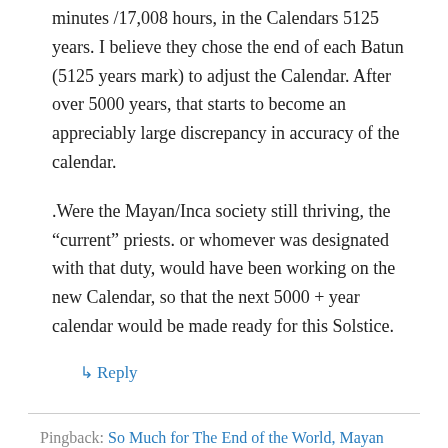minutes /17,008 hours, in the Calendars 5125 years. I believe they chose the end of each Batun (5125 years mark) to adjust the Calendar. After over 5000 years, that starts to become an appreciably large discrepancy in accuracy of the calendar.
.Were the Mayan/Inca society still thriving, the “current” priests. or whomever was designated with that duty, would have been working on the new Calendar, so that the next 5000 + year calendar would be made ready for this Solstice.
↳ Reply
Pingback: So Much for The End of the World, Mayan Style | The Skeptical Teacher